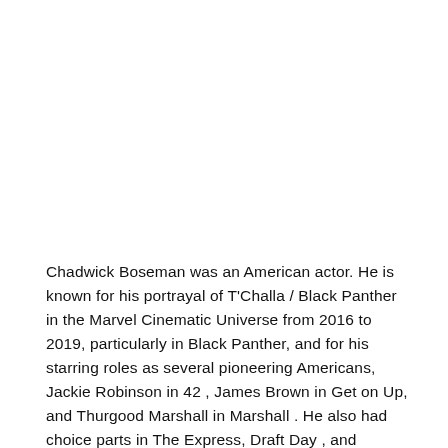Chadwick Boseman was an American actor. He is known for his portrayal of T'Challa / Black Panther in the Marvel Cinematic Universe from 2016 to 2019, particularly in Black Panther, and for his starring roles as several pioneering Americans, Jackie Robinson in 42 , James Brown in Get on Up, and Thurgood Marshall in Marshall . He also had choice parts in The Express, Draft Day , and Message from the King. Born in Anderson, South Carolina, he attended Howard University and studied at the Oxford Mid-Summer Program for acting, before moving to Los